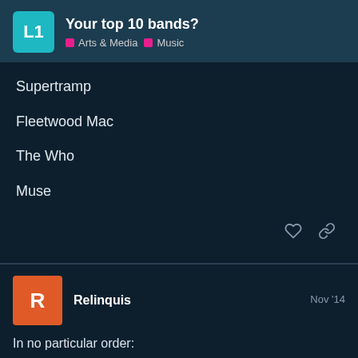Your top 10 bands? | Arts & Media | Music
Supertramp
Fleetwood Mac
The Who
Muse
Relinquis  Nov '14
In no particular order:
Oasis
Red Hot Chilli Peppers
The Clash
Bush
30 / 46